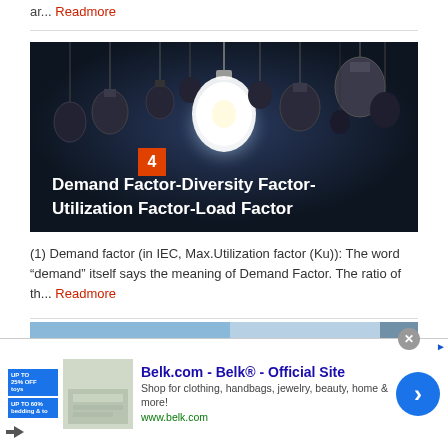ar... Readmore
[Figure (photo): Dark background with multiple hanging light bulbs, one glowing brightly in the center, with number badge 4 and title overlay 'Demand Factor-Diversity Factor-Utilization Factor-Load Factor']
(1) Demand factor (in IEC, Max.Utilization factor (Ku)): The word “demand” itself says the meaning of Demand Factor. The ratio of th... Readmore
[Figure (screenshot): Partial view of another article image at bottom]
Belk.com - Belk® - Official Site
Shop for clothing, handbags, jewelry, beauty, home & more!
www.belk.com